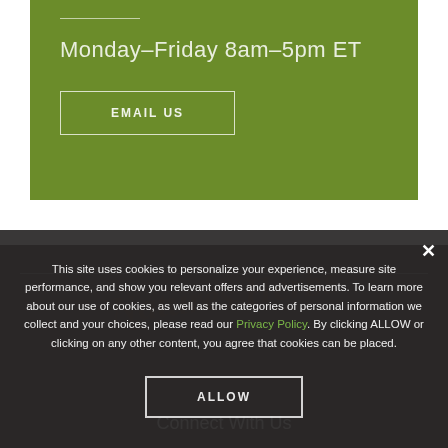Monday–Friday  8am–5pm ET
EMAIL US
This site uses cookies to personalize your experience, measure site performance, and show you relevant offers and advertisements. To learn more about our use of cookies, as well as the categories of personal information we collect and your choices, please read our Privacy Policy. By clicking ALLOW or clicking on any other content, you agree that cookies can be placed.
ALLOW
Connect With Us